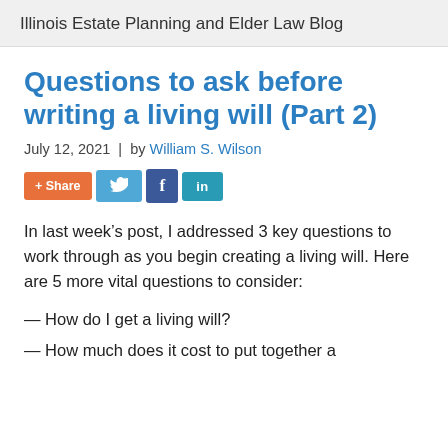Illinois Estate Planning and Elder Law Blog
Questions to ask before writing a living will (Part 2)
July 12, 2021 | by William S. Wilson
[Figure (infographic): Social share buttons: + Share (orange), Twitter bird icon (blue), Facebook f icon (dark blue), LinkedIn in icon (teal)]
In last week’s post, I addressed 3 key questions to work through as you begin creating a living will. Here are 5 more vital questions to consider:
— How do I get a living will?
— How much does it cost to put together a